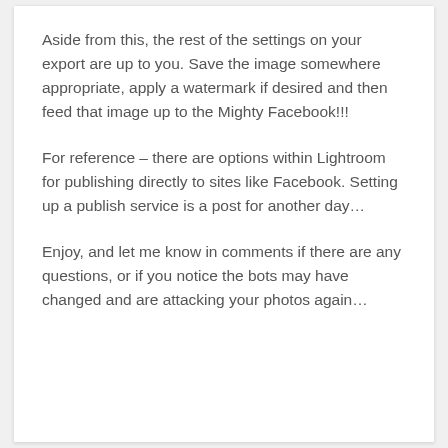Aside from this, the rest of the settings on your export are up to you. Save the image somewhere appropriate, apply a watermark if desired and then feed that image up to the Mighty Facebook!!!
For reference – there are options within Lightroom for publishing directly to sites like Facebook. Setting up a publish service is a post for another day…
Enjoy, and let me know in comments if there are any questions, or if you notice the bots may have changed and are attacking your photos again…